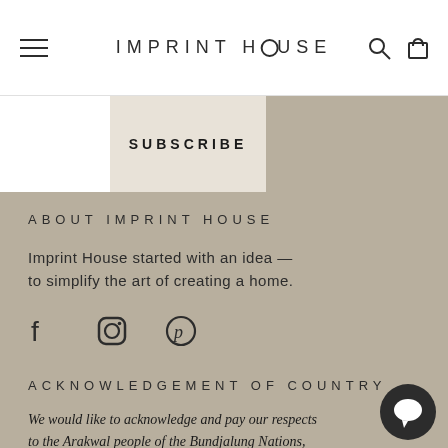IMPRINT HOUSE
SUBSCRIBE
ABOUT IMPRINT HOUSE
Imprint House started with an idea — to simplify the art of creating a home.
[Figure (illustration): Social media icons: Facebook, Instagram, Pinterest]
ACKNOWLEDGEMENT OF COUNTRY
We would like to acknowledge and pay our respects to the Arakwal people of the Bundjalung Nations, the traditional custodians of the land on which we live and